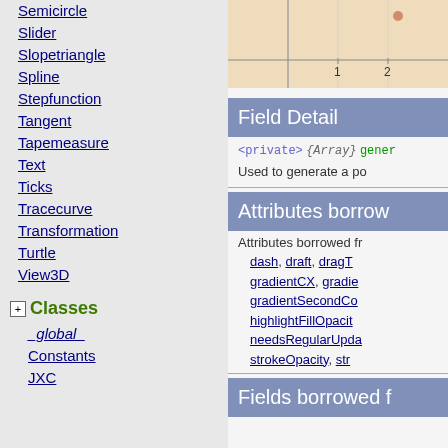Semicircle
Slider
Slopetriangle
Spline
Stepfunction
Tangent
Tapemeasure
Text
Ticks
Tracecurve
Transformation
Turtle
View3D
Classes
_global_
Constants
JXC
[Figure (continuous-plot): Partial coordinate graph showing axes with tick marks at 1 and 2 on x-axis, beige/tan background]
Field Detail
<private> {Array} gener
Used to generate a pol
Attributes borrow
Attributes borrowed fr
dash, draft, dragT, gradientCX, gradie, gradientSecondCo, highlightFillOpacit, needsRegularUpda, strokeOpacity, str